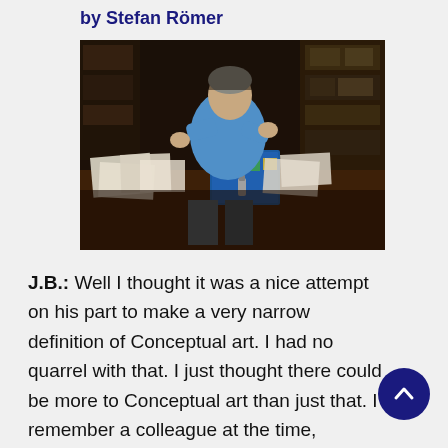by Stefan Römer
[Figure (photo): A person sitting at a large cluttered desk covered with papers and art materials, working in what appears to be an artist's studio or office, with shelving and equipment visible in the background.]
J.B.: Well I thought it was a nice attempt on his part to make a very narrow definition of Conceptual art. I had no quarrel with that. I just thought there could be more to Conceptual art than just that. I remember a colleague at the time, Douglas